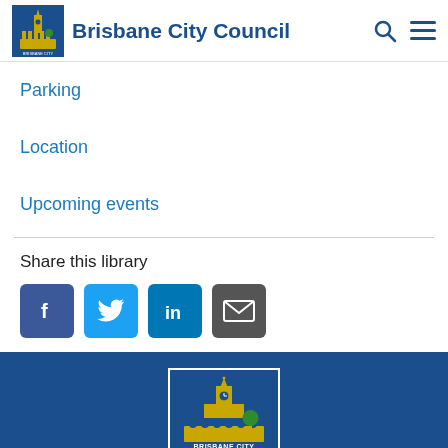Brisbane City Council
Parking
Location
Upcoming events
Share this library
[Figure (logo): Brisbane City Council logo in footer — yellow clock tower building on blue background with 'BRISBANE CITY' text]
Brisbane City Council footer logo